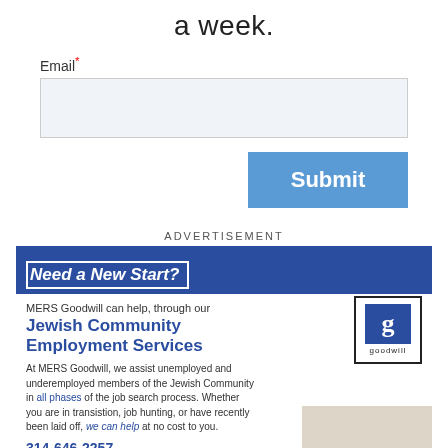a week.
Email*
[Figure (other): Email input text field, empty, with light blue background]
[Figure (other): Submit button, blue with white text]
ADVERTISEMENT
[Figure (infographic): MERS Goodwill advertisement: Need a New Start? MERS Goodwill can help, through our Jewish Community Employment Services. At MERS Goodwill, we assist unemployed and underemployed members of the Jewish Community in all phases of the job search process. Whether you are in transistion, job hunting, or have recently been laid off, we can help at no cost to you. 314-646-2257. Call today to begin your transition into the career you really want! Goodwill logo. Coffee cup image with BEGIN text.]